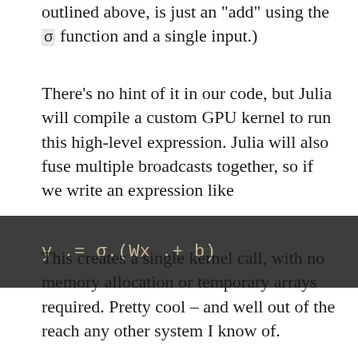outlined above, is just an "add" using the σ function and a single input.)
There's no hint of it in our code, but Julia will compile a custom GPU kernel to run this high-level expression. Julia will also fuse multiple broadcasts together, so if we write an expression like
This creates a single kernel call, with no memory allocation or temporary arrays required. Pretty cool – and well out of the reach any other system I know of.